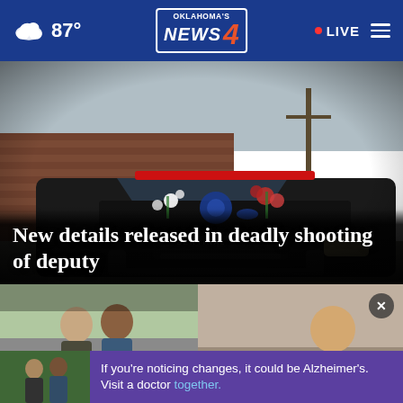87° | Oklahoma's News 4 | LIVE
[Figure (photo): A black police/sheriff SUV (Sentinal brand) with floral tributes — bouquets and a decorative blue wreath — placed on the hood. Background shows a brick building and utility pole. Red light bar on roof. Overcast sky.]
New details released in deadly shooting of deputy
[Figure (photo): Two men in outdoor setting, partially visible in bottom-left thumbnail]
[Figure (photo): Partially visible image in bottom-right panel with a close button (×)]
If you're noticing changes, it could be Alzheimer's. Visit a doctor together.